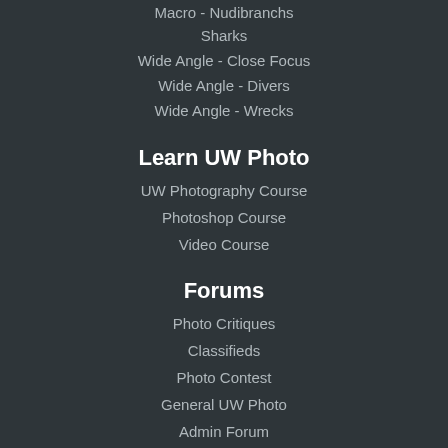Macro - Nudibranchs
Sharks
Wide Angle - Close Focus
Wide Angle - Divers
Wide Angle - Wrecks
Learn UW Photo
UW Photography Course
Photoshop Course
Video Course
Forums
Photo Critiques
Classifieds
Photo Contest
General UW Photo
Admin Forum
All Forums
Top 6 Dive Sites